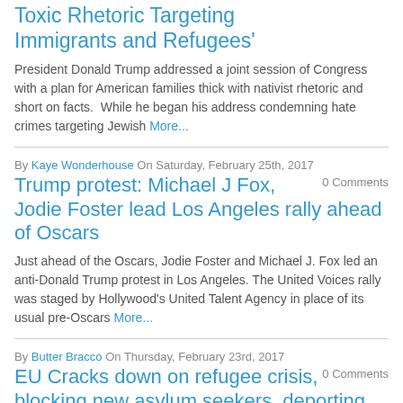Toxic Rhetoric Targeting Immigrants and Refugees'
President Donald Trump addressed a joint session of Congress with a plan for American families thick with nativist rhetoric and short on facts.  While he began his address condemning hate crimes targeting Jewish More...
By Kaye Wonderhouse On Saturday, February 25th, 2017
Trump protest: Michael J Fox, Jodie Foster lead Los Angeles rally ahead of Oscars
0 Comments
Just ahead of the Oscars, Jodie Foster and Michael J. Fox led an anti-Donald Trump protest in Los Angeles. The United Voices rally was staged by Hollywood's United Talent Agency in place of its usual pre-Oscars More...
By Butter Bracco On Thursday, February 23rd, 2017
EU Cracks down on refugee crisis, blocking new asylum seekers, deporting
0 Comments